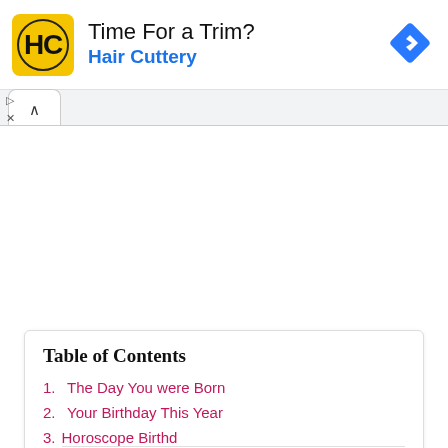[Figure (other): Hair Cuttery advertisement banner with yellow logo showing HC initials, text 'Time For a Trim?' and 'Hair Cuttery' in blue, and a blue navigation diamond icon on the right]
▷
×
∧
Table of Contents
1. The Day You were Born
2. Your Birthday This Year
3. Horoscope Birthday